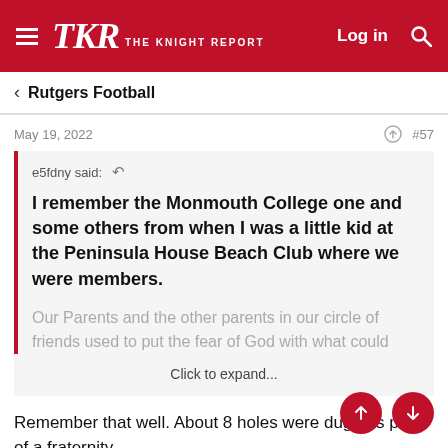TKR THE KNIGHT REPORT — Log in
< Rutgers Football
May 19, 2022  #57
e5fdny said: ↩  I remember the Monmouth College one and some others from when I was a little kid at the Peninsula House Beach Club where we were members.  Our Parents and the other parents in our circle of friends used to put the fear of God with what could  Click to expand...
Remember that well. About 8 holes were dug has part of a fraternity.